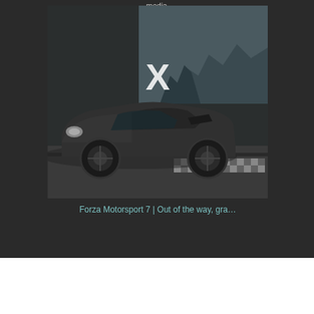media.
[Figure (screenshot): A dark video thumbnail showing a sports car (Porsche 918 Spyder style) on a race track with checkered pattern, with a white X close button overlay. Background shows city skyline. The thumbnail appears to be a blocked/unavailable video with close button.]
Forza Motorsport 7 | Out of the way, gra…